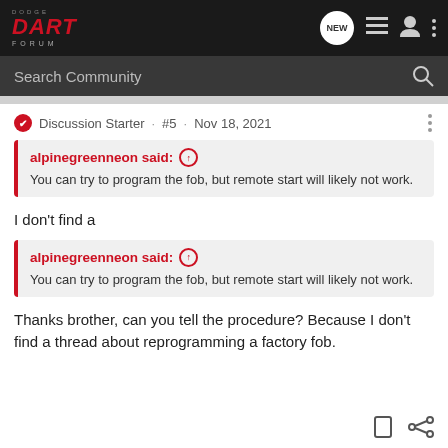DODGE DART FORUM
Search Community
Discussion Starter · #5 · Nov 18, 2021
alpinegreenneon said: ↑
You can try to program the fob, but remote start will likely not work.
I don't find a
alpinegreenneon said: ↑
You can try to program the fob, but remote start will likely not work.
Thanks brother, can you tell the procedure? Because I don't find a thread about reprogramming a factory fob.